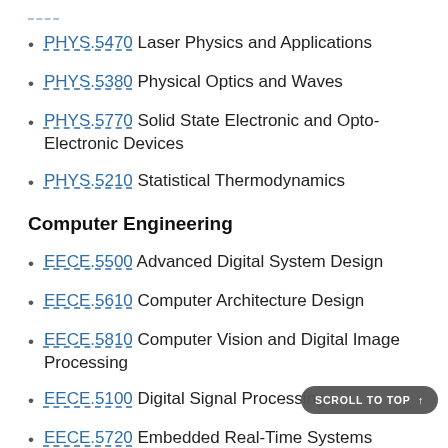PHYS.5470 Laser Physics and Applications
PHYS.5380 Physical Optics and Waves
PHYS.5770 Solid State Electronic and Opto-Electronic Devices
PHYS.5210 Statistical Thermodynamics
Computer Engineering
EECE.5500 Advanced Digital System Design
EECE.5610 Computer Architecture Design
EECE.5810 Computer Vision and Digital Image Processing
EECE.5100 Digital Signal Processing
EECE.5720 Embedded Real-Time Systems